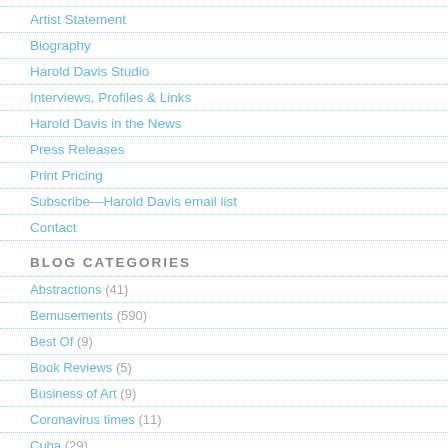Artist Statement
Biography
Harold Davis Studio
Interviews, Profiles & Links
Harold Davis in the News
Press Releases
Print Pricing
Subscribe—Harold Davis email list
Contact
BLOG CATEGORIES
Abstractions (41)
Bemusements (590)
Best Of (9)
Book Reviews (5)
Business of Art (9)
Coronavirus times (11)
Cuba (29)
Czech (15)